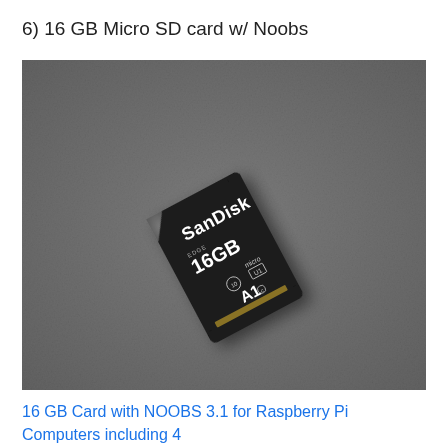6) 16 GB Micro SD card w/ Noobs
[Figure (photo): A SanDisk EDGE 16GB microSD card with micro UHS-I class 10 A1 rating, photographed on a gray textured background, slightly angled/rotated.]
16 GB Card with NOOBS 3.1 for Raspberry Pi Computers including 4